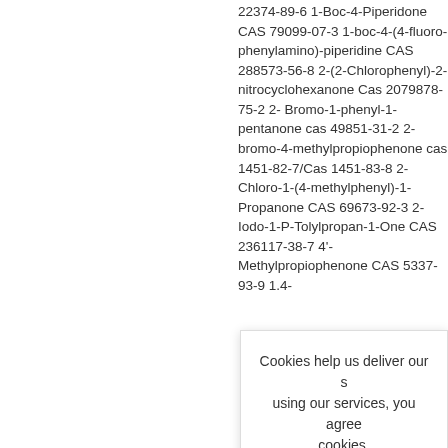22374-89-6 1-Boc-4-Piperidone CAS 79099-07-3 1-boc-4-(4-fluoro-phenylamino)-piperidine CAS 288573-56-8 2-(2-Chlorophenyl)-2-nitrocyclohexanone Cas 2079878-75-2 2- Bromo-1-phenyl-1-pentanone cas 49851-31-2 2-bromo-4-methylpropiophenone cas 1451-82-7/Cas 1451-83-8 2-Chloro-1-(4-methylphenyl)-1-Propanone CAS 69673-92-3 2-Iodo-1-P-Tolylpropan-1-One CAS 236117-38-7 4'-Methylpropiophenone CAS 5337-93-9 1.4-
Cookies help us deliver our s using our services, you agree cookies.